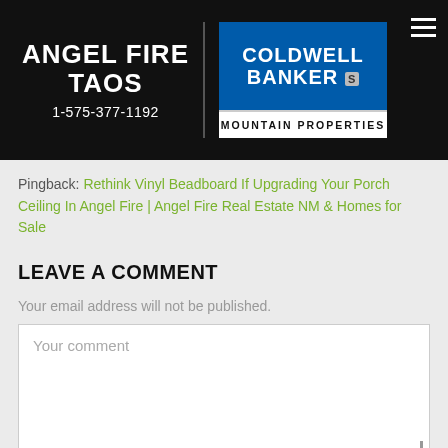ANGEL FIRE TAOS 1-575-377-1192 | Coldwell Banker Mountain Properties
Pingback: Rethink Vinyl Beadboard If Upgrading Your Porch Ceiling In Angel Fire | Angel Fire Real Estate NM & Homes for Sale
LEAVE A COMMENT
Your email address will not be published.
Your comment
Name